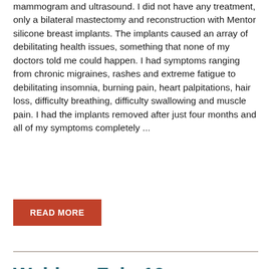mammogram and ultrasound. I did not have any treatment, only a bilateral mastectomy and reconstruction with Mentor silicone breast implants. The implants caused an array of debilitating health issues, something that none of my doctors told me could happen. I had symptoms ranging from chronic migraines, rashes and extreme fatigue to debilitating insomnia, burning pain, heart palpitations, hair loss, difficulty breathing, difficulty swallowing and muscle pain. I had the implants removed after just four months and all of my symptoms completely ...
READ MORE
Webinar Feb. 10: Addressing Social Needs to Prevent and Reduce Cancer ▶